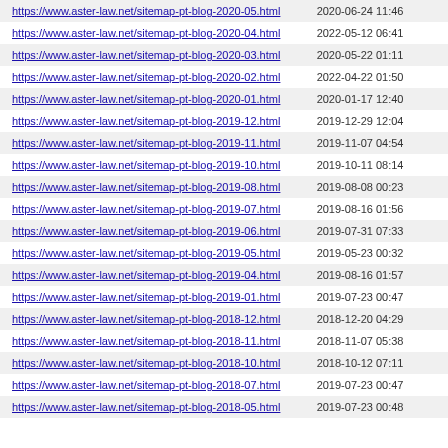| URL | Last Modified |
| --- | --- |
| https://www.aster-law.net/sitemap-pt-blog-2020-05.html | 2020-06-24 11:46 |
| https://www.aster-law.net/sitemap-pt-blog-2020-04.html | 2022-05-12 06:41 |
| https://www.aster-law.net/sitemap-pt-blog-2020-03.html | 2020-05-22 01:11 |
| https://www.aster-law.net/sitemap-pt-blog-2020-02.html | 2022-04-22 01:50 |
| https://www.aster-law.net/sitemap-pt-blog-2020-01.html | 2020-01-17 12:40 |
| https://www.aster-law.net/sitemap-pt-blog-2019-12.html | 2019-12-29 12:04 |
| https://www.aster-law.net/sitemap-pt-blog-2019-11.html | 2019-11-07 04:54 |
| https://www.aster-law.net/sitemap-pt-blog-2019-10.html | 2019-10-11 08:14 |
| https://www.aster-law.net/sitemap-pt-blog-2019-08.html | 2019-08-08 00:23 |
| https://www.aster-law.net/sitemap-pt-blog-2019-07.html | 2019-08-16 01:56 |
| https://www.aster-law.net/sitemap-pt-blog-2019-06.html | 2019-07-31 07:33 |
| https://www.aster-law.net/sitemap-pt-blog-2019-05.html | 2019-05-23 00:32 |
| https://www.aster-law.net/sitemap-pt-blog-2019-04.html | 2019-08-16 01:57 |
| https://www.aster-law.net/sitemap-pt-blog-2019-01.html | 2019-07-23 00:47 |
| https://www.aster-law.net/sitemap-pt-blog-2018-12.html | 2018-12-20 04:29 |
| https://www.aster-law.net/sitemap-pt-blog-2018-11.html | 2018-11-07 05:38 |
| https://www.aster-law.net/sitemap-pt-blog-2018-10.html | 2018-10-12 07:11 |
| https://www.aster-law.net/sitemap-pt-blog-2018-07.html | 2019-07-23 00:47 |
| https://www.aster-law.net/sitemap-pt-blog-2018-05.html | 2019-07-23 00:48 |